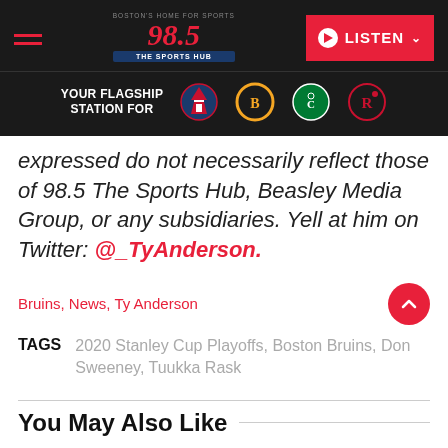98.5 The Sports Hub — YOUR FLAGSHIP STATION FOR (Patriots, Bruins, Celtics, Revolution) — LISTEN
expressed do not necessarily reflect those of 98.5 The Sports Hub, Beasley Media Group, or any subsidiaries. Yell at him on Twitter: @_TyAnderson.
Bruins, News, Ty Anderson
TAGS 2020 Stanley Cup Playoffs, Boston Bruins, Don Sweeney, Tuukka Rask
You May Also Like